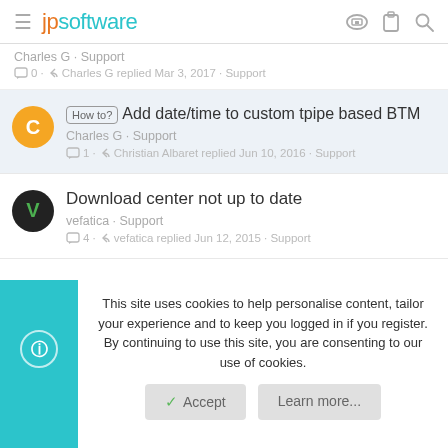jpsoftware
Charles G · Support
◻ 0 · ↩ Charles G replied Mar 3, 2017 · Support
How to? Add date/time to custom tpipe based BTM
Charles G · Support
◻ 1 · ↩ Christian Albaret replied Jun 10, 2016 · Support
Download center not up to date
vefatica · Support
◻ 4 · ↩ vefatica replied Jun 12, 2015 · Support
This site uses cookies to help personalise content, tailor your experience and to keep you logged in if you register. By continuing to use this site, you are consenting to our use of cookies.
Accept
Learn more...